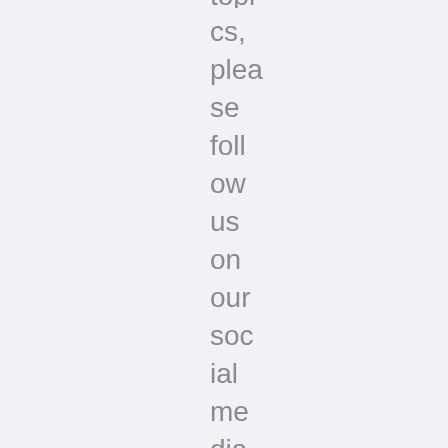topics, please follow us on our social media platforms or